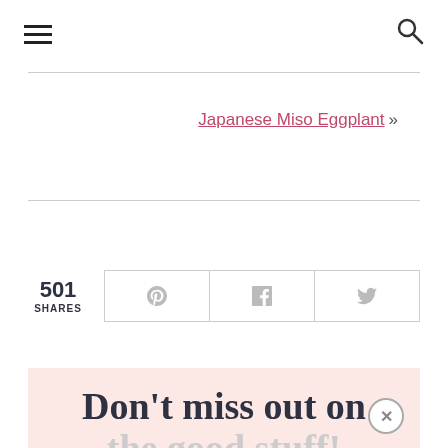Navigation header with hamburger menu and search icon
Japanese Miso Eggplant »
501 SHARES
Don't miss out on the good stuff!